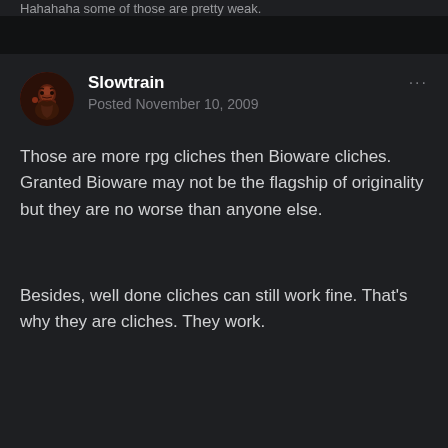Hahahaha some of those are pretty weak.
Slowtrain
Posted November 10, 2009
Those are more rpg cliches then Bioware cliches. Granted Bioware may not be the flagship of originality but they are no worse than anyone else.
Besides, well done cliches can still work fine. That's why they are cliches. They work.